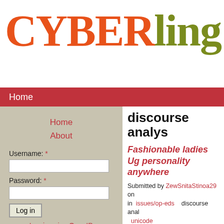CYBERling[b
Home
Home
About
Username: *
Password: *
Log in
Log in using OpenID
Create new account
Request new password
discourse analys
Fashionable ladies Ug personality anywhere
Submitted by ZewSnitaStinoa29 on in issues/op-eds discourse anal unicode
Military staff in america have faced previously and continue to ugg boo areas in Iraq, the dangerous terrai dangerous war areas, it's all a part